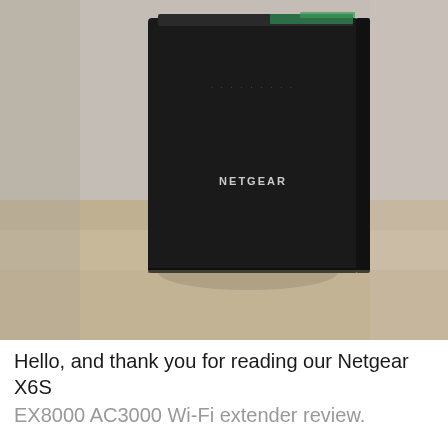[Figure (photo): Photo of a black Netgear product box standing upright on a wooden surface. The box is tall and rectangular with a dark matte finish. The NETGEAR logo is visible in white text on the front of the box. The top edge of the box has a slight green accent. The background shows a wooden table surface and a neutral wall.]
Hello, and thank you for reading our Netgear X6S EX8000 AC3000 Wi-Fi extender review.